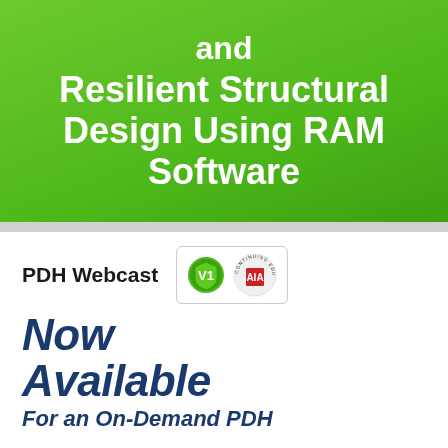and Resilient Structural Design Using RAM Software
PDH Webcast
[Figure (logo): V1 green shield badge logo and AIA Continuing Education circular badge]
Now Available
For an On-Demand PDH
Sponsored by:
Bentley®